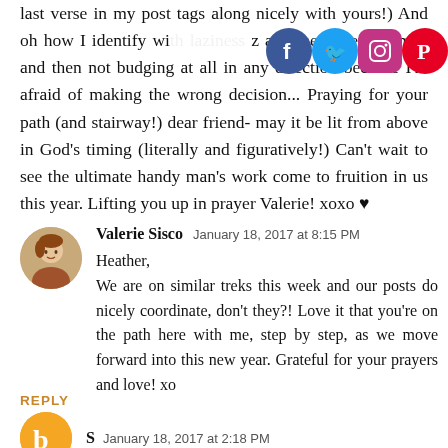last verse in my post tags along nicely with yours!) And oh how I identify wi... and then overwhelmed and then not budging at all in any direction because I'm afraid of making the wrong decision... Praying for your path (and stairway!) dear friend- may it be lit from above in God's timing (literally and figuratively!) Can't wait to see the ultimate handy man's work come to fruition in us this year. Lifting you up in prayer Valerie! xoxo ♥
[Figure (photo): Round avatar photo of Valerie Sisco]
Valerie Sisco  January 18, 2017 at 8:15 PM
Heather,
We are on similar treks this week and our posts do nicely coordinate, don't they?! Love it that you're on the path here with me, step by step, as we move forward into this new year. Grateful for your prayers and love! xo
REPLY
[Figure (logo): Orange Blogger 'b' logo avatar]
S  January 18, 2017 at 2:18 PM